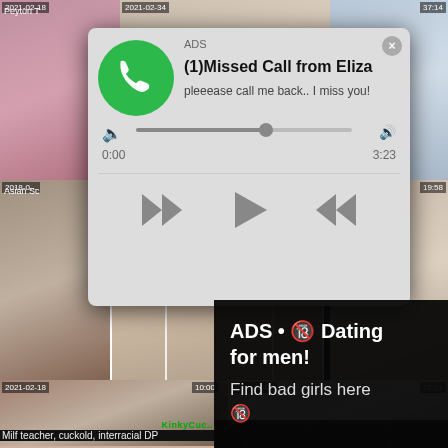[Figure (screenshot): Adult video website screenshot with multiple video thumbnails and two overlaid ads: an audio player ad and a dating ad.]
2021-02-18
37:14
Peyton T
ADS
(1)Missed Call from Eliza
pleeease call me back.. I miss you!
0:00   3:23
2018-0...   19:58
Asian Sc
[Figure (screenshot): Selfie photo with REC overlay]
REC
ADS • 🔞 Dating for men!
Find bad girls here 🔞
2021-02-18   10:00
KinkyCuc...
Milf teacher, cuckold, interracial DP
2021-02-07   12:31
German Mature Teacher Deflorate Virgin